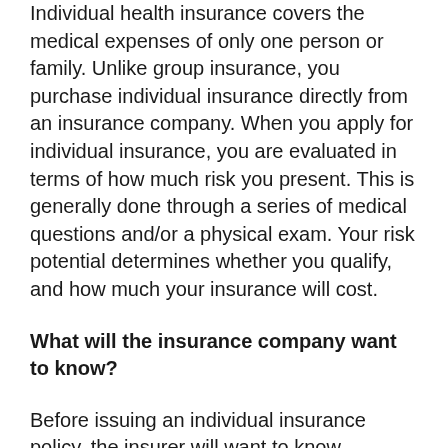Individual health insurance covers the medical expenses of only one person or family. Unlike group insurance, you purchase individual insurance directly from an insurance company. When you apply for individual insurance, you are evaluated in terms of how much risk you present. This is generally done through a series of medical questions and/or a physical exam. Your risk potential determines whether you qualify, and how much your insurance will cost.
What will the insurance company want to know?
Before issuing an individual insurance policy, the insurer will want to know everything about your personal health history. It is unwise to try to hide a pre-existing condition from your insurer, since many insurers use information from the Medical Information Bureau (MIB) to